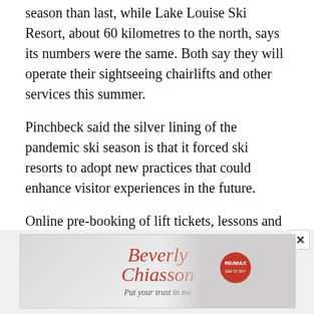season than last, while Lake Louise Ski Resort, about 60 kilometres to the north, says its numbers were the same. Both say they will operate their sightseeing chairlifts and other services this summer.
Pinchbeck said the silver lining of the pandemic ski season is that it forced ski resorts to adopt new practices that could enhance visitor experiences in the future.
Online pre-booking of lift tickets, lessons and other services, for example, give guests certainty that there will be room in the parking lot and on the hill for them, and will likely carry on after COVID-19 is no longer a concern.
[Figure (photo): Advertisement featuring Beverly Chiasson with RE/MAX branding. Shows a woman in a red blazer with cursive Beverly Chiasson text in red and a RE/MAX Sea to Sky logo.]